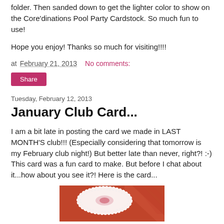folder.  Then sanded down to get the lighter color to show on the Core'dinations Pool Party Cardstock.  So much fun to use!
Hope you enjoy!  Thanks so much for visiting!!!!
at February 21, 2013    No comments:
Share
Tuesday, February 12, 2013
January Club Card...
I am a bit late in posting the card we made in LAST MONTH'S club!!!  (Especially considering that tomorrow is my February club night!)  But better late than never, right?!  :-)  This card was a fun card to make.  But before I chat about it...how about you see it?!  Here is the card...
[Figure (photo): Photo of a handmade card with orange/red background and white doily detail with decorative elements]